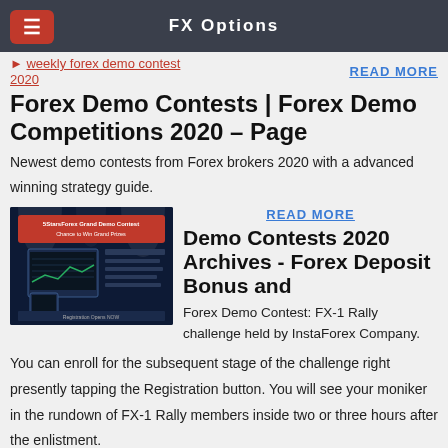FX Options
weekly forex demo contest 2020
READ MORE
Forex Demo Contests | Forex Demo Competitions 2020 – Page
Newest demo contests from Forex brokers 2020 with a advanced winning strategy guide.
[Figure (photo): 5StarsForex Grand Demo Contest promotional banner showing trading screens and 'Chance to Win Grand Prizes' text]
READ MORE
Demo Contests 2020 Archives - Forex Deposit Bonus and
Forex Demo Contest: FX-1 Rally challenge held by InstaForex Company. You can enroll for the subsequent stage of the challenge right presently tapping the Registration button. You will see your moniker in the rundown of FX-1 Rally members inside two or three hours after the enlistment.